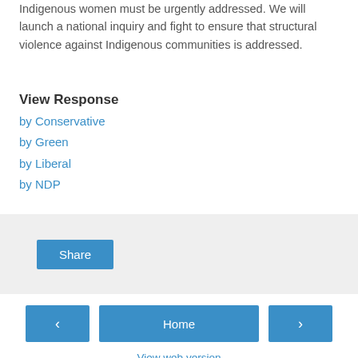Indigenous women must be urgently addressed. We will launch a national inquiry and fight to ensure that structural violence against Indigenous communities is addressed.
View Response
by Conservative
by Green
by Liberal
by NDP
Share
Home | View web version | Powered by Blogger.